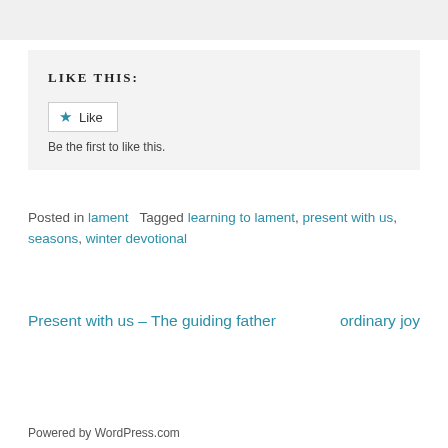[Figure (other): Gray bar at top of page, partial content cutoff]
Like This:
Like
Be the first to like this.
Posted in lament   Tagged learning to lament, present with us, seasons, winter devotional
Present with us – The guiding father
ordinary joy
Powered by WordPress.com